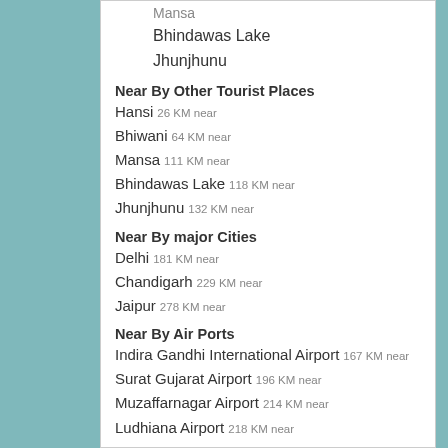Mansa
Bhindawas Lake
Jhunjhunu
Near By Other Tourist Places
Hansi  26 KM near
Bhiwani  64 KM near
Mansa  111 KM near
Bhindawas Lake  118 KM near
Jhunjhunu  132 KM near
Near By major Cities
Delhi  181 KM near
Chandigarh  229 KM near
Jaipur  278 KM near
Near By Air Ports
Indira Gandhi International Airport  167 KM near
Surat Gujarat Airport  196 KM near
Muzaffarnagar Airport  214 KM near
Ludhiana Airport  218 KM near
Near By Local Cities
Hisar  4 KM near
Rohtak  100 KM near
Panipat  138 KM near
Sonipat  143 KM near
Near By Districts
Hisar  1 KM near
Fatehabad  55 KM near
Bhiwani  62 KM near
Jind  68 KM near